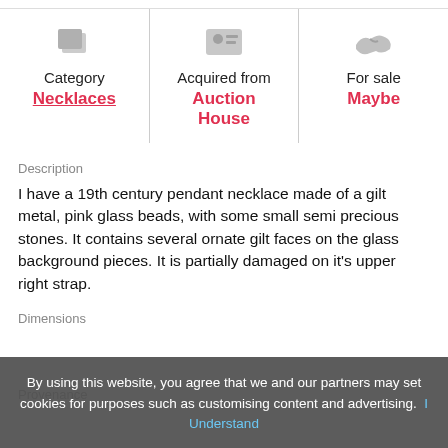[Figure (infographic): Three-column info panel with icons: Category (layers icon), Acquired from (person/card icon), For sale (handshake icon)]
Category
Necklaces
Acquired from
Auction House
For sale
Maybe
Description
I have a 19th century pendant necklace made of a gilt metal, pink glass beads, with some small semi precious stones. It contains several ornate gilt faces on the glass background pieces. It is partially damaged on it's upper right strap.
Dimensions
Provenance
By using this website, you agree that we and our partners may set cookies for purposes such as customising content and advertising. I Understand